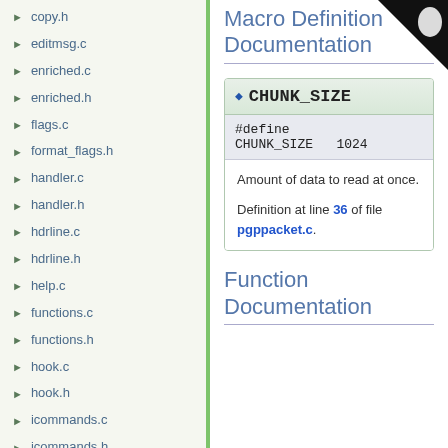copy.h
editmsg.c
enriched.c
enriched.h
flags.c
format_flags.h
handler.c
handler.h
hdrline.c
hdrline.h
help.c
functions.c
functions.h
hook.c
hook.h
icommands.c
icommands.h
init.c
init.h
keymap.c
keymap.h
Macro Definition Documentation
#define CHUNK_SIZE   1024
Amount of data to read at once.

Definition at line 36 of file pgppacket.c.
Function Documentation